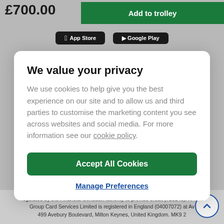£700.00
[Figure (screenshot): Green 'Add to trolley' button]
[Figure (screenshot): App Store and Google Play buttons]
We value your privacy
We use cookies to help give you the best experience on our site and to allow us and third parties to customise the marketing content you see across websites and social media. For more information see our cookie policy.
[Figure (screenshot): Accept All Cookies button (green)]
Manage Preferences
regulated by the Financial Conduct Authority to provide credit (716148). H Group Card Services Limited is registered in England (04007072) at Av 499 Avebury Boulevard, Milton Keynes, United Kingdom. MK9 2